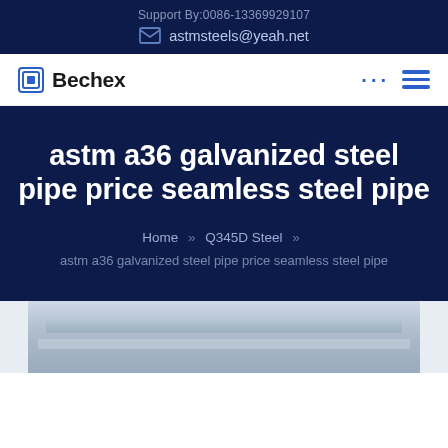Support By:0086-13369929107
astmsteels@yeah.net
Bechex
astm a36 galvanized steel pipe price seamless steel pipe
Home » Q345D Steel » astm a36 galvanized steel pipe price seamless steel pipe
[Figure (photo): Photograph of steel pipes or industrial steel structure, partially visible at bottom of page]